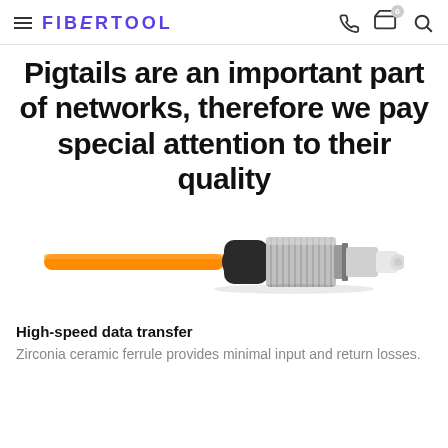FIBERTOOL
Pigtails are an important part of networks, therefore we pay special attention to their quality
[Figure (photo): Fiber optic pigtail connector — orange cable with black boot and silver metallic FC connector with white ceramic ferrule tip]
High-speed data transfer
Zirconia ceramic ferrule provides minimal input and return losses.